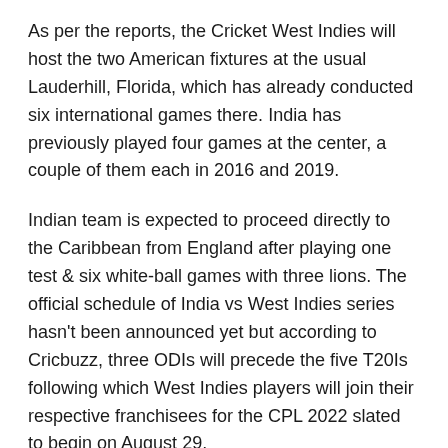As per the reports, the Cricket West Indies will host the two American fixtures at the usual Lauderhill, Florida, which has already conducted six international games there. India has previously played four games at the center, a couple of them each in 2016 and 2019.
Indian team is expected to proceed directly to the Caribbean from England after playing one test & six white-ball games with three lions. The official schedule of India vs West Indies series hasn't been announced yet but according to Cricbuzz, three ODIs will precede the five T20Is following which West Indies players will join their respective franchisees for the CPL 2022 slated to begin on August 29.
“Playing the last two T20Is in the US makes logistical sense for the Indian team,” said a BCCI official in the know of the development. The CWI neither confirmed nor